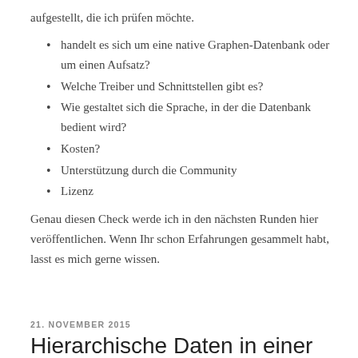aufgestellt, die ich prüfen möchte.
handelt es sich um eine native Graphen-Datenbank oder um einen Aufsatz?
Welche Treiber und Schnittstellen gibt es?
Wie gestaltet sich die Sprache, in der die Datenbank bedient wird?
Kosten?
Unterstützung durch die Community
Lizenz
Genau diesen Check werde ich in den nächsten Runden hier veröffentlichen. Wenn Ihr schon Erfahrungen gesammelt habt, lasst es mich gerne wissen.
21. NOVEMBER 2015
Hierarchische Daten in einer Graph-Datenbank